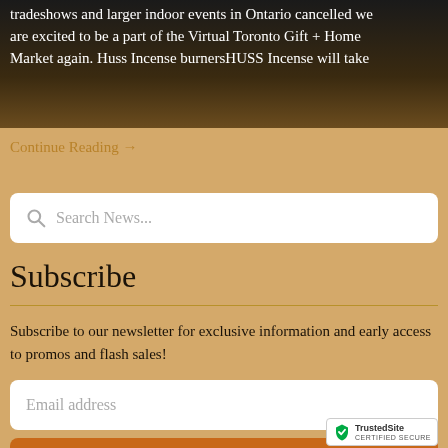[Figure (photo): Dark gradient background image with white text overlay showing partial article text about tradeshows and Virtual Toronto Gift + Home Market]
tradeshows and larger indoor events in Ontario cancelled we are excited to be a part of the Virtual Toronto Gift + Home Market again. Huss Incense burnersHUSS Incense will take
Continue Reading →
Search News...
Subscribe
Subscribe to our newsletter for exclusive information and early access to promos and flash sales!
Email address
SIGN UP
[Figure (logo): TrustedSite badge with green checkmark shield logo and text CERTIFIED SECURE]